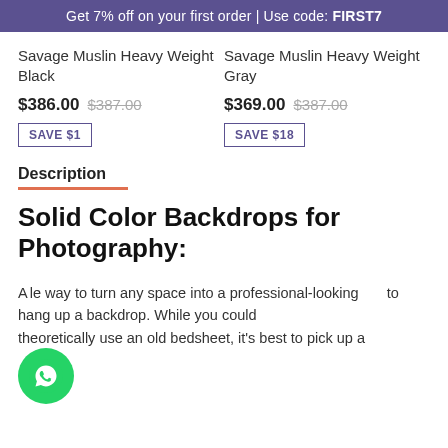Get 7% off on your first order | Use code: FIRST7
Savage Muslin Heavy Weight Black
$386.00  $387.00
SAVE $1
Savage Muslin Heavy Weight Gray
$369.00  $387.00
SAVE $18
Description
Solid Color Backdrops for Photography:
A simple way to turn any space into a professional-looking  to hang up a backdrop. While you could theoretically use an old bedsheet, it's best to pick up a